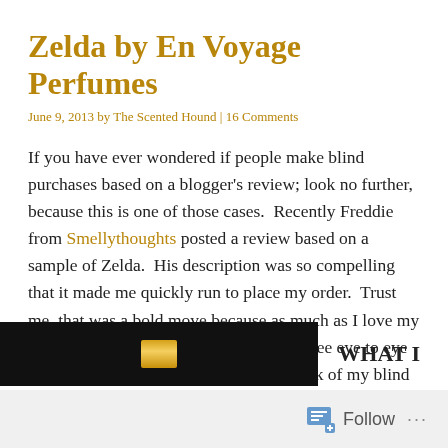Zelda by En Voyage Perfumes
June 9, 2013 by The Scented Hound | 16 Comments
If you have ever wondered if people make blind purchases based on a blogger's review; look no further, because this is one of those cases.  Recently Freddie from Smellythoughts posted a review based on a sample of Zelda.  His description was so compelling that it made me quickly run to place my order.  Trust me, that was a bold move because as much as I love my dear Freddie's reviews, we don't always see eye to eye in our fragrance loves.  So what do I think of my blind buy?
[Figure (photo): Dark/black background photo showing a gold perfume cap or bottle element at the bottom, partially visible, with 'WHAT I' text to the right]
Follow ...